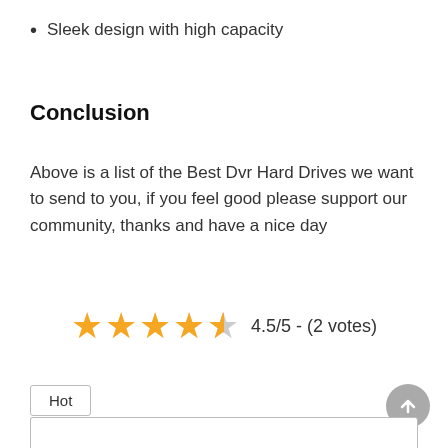Sleek design with high capacity
Conclusion
Above is a list of the Best Dvr Hard Drives we want to send to you, if you feel good please support our community, thanks and have a nice day
[Figure (other): Star rating: 4.5 out of 5 stars with text '4.5/5 - (2 votes)']
Hot
[Figure (other): Back to top button (circular grey arrow up button)]